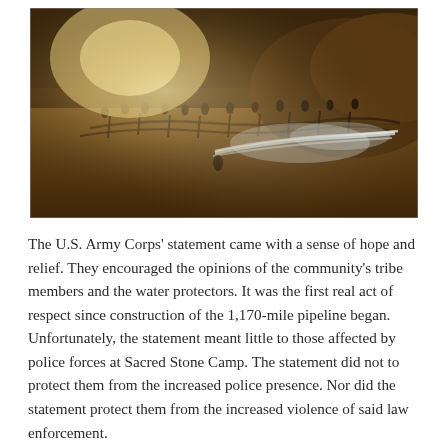[Figure (photo): Aerial view of a confrontation scene, likely at the Standing Rock / Sacred Stone Camp protest, showing people gathered on rough terrain with what appears to be water or smoke being sprayed, illuminated by bright light in evening or nighttime conditions.]
The U.S. Army Corps' statement came with a sense of hope and relief. They encouraged the opinions of the community's tribe members and the water protectors. It was the first real act of respect since construction of the 1,170-mile pipeline began. Unfortunately, the statement meant little to those affected by police forces at Sacred Stone Camp. The statement did not to protect them from the increased police presence. Nor did the statement protect them from the increased violence of said law enforcement.